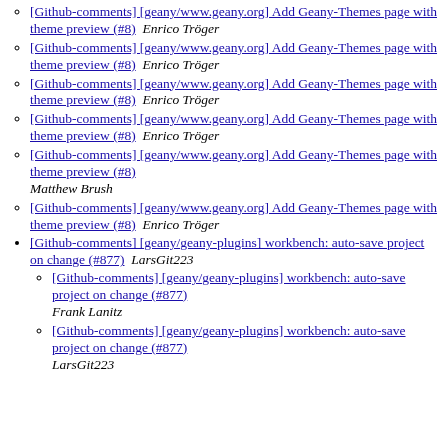[Github-comments] [geany/www.geany.org] Add Geany-Themes page with theme preview (#8)  Enrico Tröger
[Github-comments] [geany/www.geany.org] Add Geany-Themes page with theme preview (#8)  Enrico Tröger
[Github-comments] [geany/www.geany.org] Add Geany-Themes page with theme preview (#8)  Enrico Tröger
[Github-comments] [geany/www.geany.org] Add Geany-Themes page with theme preview (#8)  Enrico Tröger
[Github-comments] [geany/www.geany.org] Add Geany-Themes page with theme preview (#8)  Matthew Brush
[Github-comments] [geany/www.geany.org] Add Geany-Themes page with theme preview (#8)  Enrico Tröger
[Github-comments] [geany/geany-plugins] workbench: auto-save project on change (#877)  LarsGit223
[Github-comments] [geany/geany-plugins] workbench: auto-save project on change (#877)  Frank Lanitz
[Github-comments] [geany/geany-plugins] workbench: auto-save project on change (#877)  LarsGit223